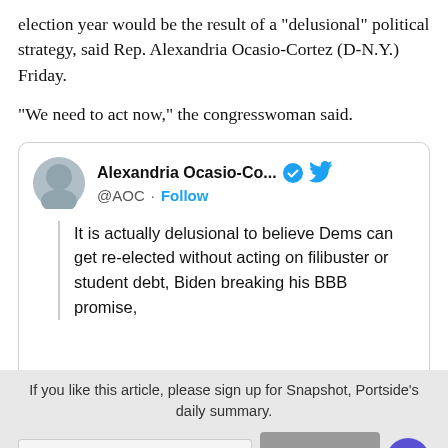election year would be the result of a "delusional" political strategy, said Rep. Alexandria Ocasio-Cortez (D-N.Y.) Friday.
"We need to act now," the congresswoman said.
[Figure (screenshot): Embedded tweet from Alexandria Ocasio-Cortez (@AOC) with verified badge and Twitter bird icon. Tweet reads: 'It is actually delusional to believe Dems can get re-elected without acting on filibuster or student debt, Biden breaking his BBB promise, [text cut off]']
If you like this article, please sign up for Snapshot, Portside's daily summary.
(One summary e-mail a day, you can change anytime, and Portside is always free.)